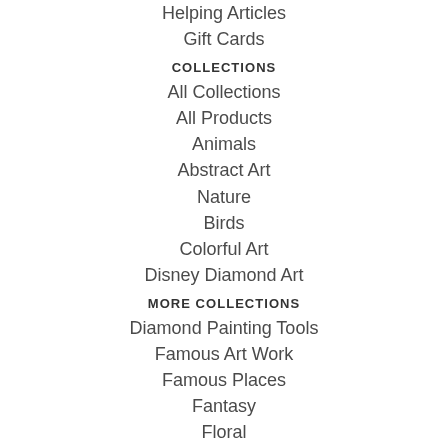Helping Articles
Gift Cards
COLLECTIONS
All Collections
All Products
Animals
Abstract Art
Nature
Birds
Colorful Art
Disney Diamond Art
MORE COLLECTIONS
Diamond Painting Tools
Famous Art Work
Famous Places
Fantasy
Floral
Food Lovers
Love